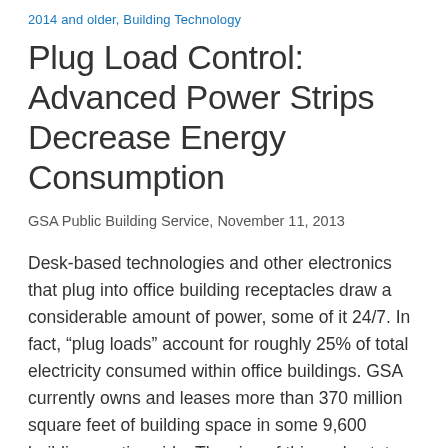2014 and older, Building Technology
Plug Load Control: Advanced Power Strips Decrease Energy Consumption
GSA Public Building Service, November 11, 2013
Desk-based technologies and other electronics that plug into office building receptacles draw a considerable amount of power, some of it 24/7. In fact, “plug loads” account for roughly 25% of total electricity consumed within office buildings. GSA currently owns and leases more than 370 million square feet of building space in some 9,600 buildings nationwide. The size of this real estate portfolio alone suggests the possibility of enormous energy savings, if plug loads can be reduced.